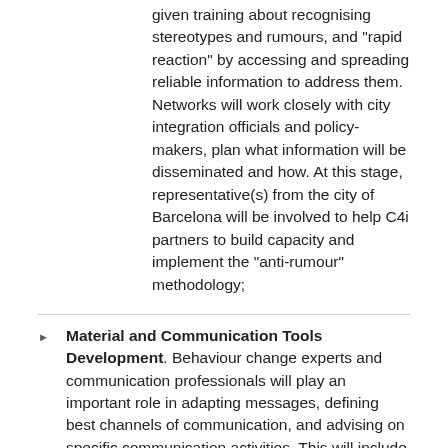given training about recognising stereotypes and rumours, and "rapid reaction" by accessing and spreading reliable information to address them. Networks will work closely with city integration officials and policy-makers, plan what information will be disseminated and how. At this stage, representative(s) from the city of Barcelona will be involved to help C4i partners to build capacity and implement the "anti-rumour" methodology;
Material and Communication Tools Development. Behaviour change experts and communication professionals will play an important role in adapting messages, defining best channels of communication, and advising on specific communication activities. This will include development of specific communication materials (awareness-raising leaflet, network web-sites, videos, cartoons, and comics);
Communication Campaigns and Social Networks' activities. Actions will be implemented through network mobilisation to address specific